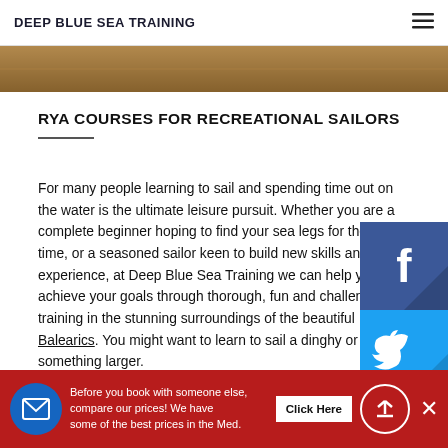DEEP BLUE SEA TRAINING
[Figure (photo): Hero banner image showing sailing/sea scene with warm tones]
RYA COURSES FOR RECREATIONAL SAILORS
For many people learning to sail and spending time out on the water is the ultimate leisure pursuit. Whether you are a complete beginner hoping to find your sea legs for the first time, or a seasoned sailor keen to build new skills and experience, at Deep Blue Sea Training we can help you achieve your goals through thorough, fun and challenging training in the stunning surroundings of the beautiful Balearics. You might want to learn to sail a dinghy or something larger.
[Figure (logo): Facebook social media icon button - dark blue square with white f logo]
[Figure (logo): Twitter social media icon button - light blue square with white bird logo]
[Figure (logo): Instagram social media icon button - pink/magenta square with white camera logo]
Before you book with someone else, compare our prices! We have some of the best prices in the Med.